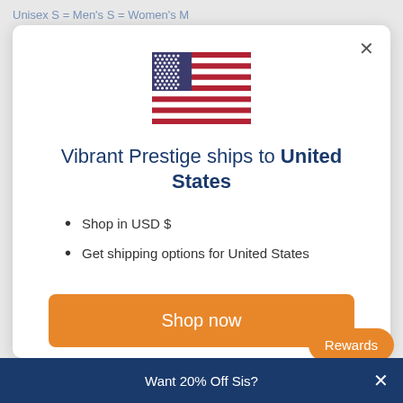Unisex S = Men's S = Women's M
[Figure (illustration): US flag SVG illustration]
Vibrant Prestige ships to United States
Shop in USD $
Get shipping options for United States
Shop now
Change shipping country
Rewards
Want 20% Off Sis?